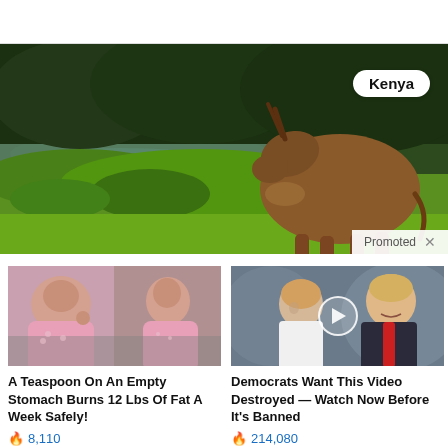[Figure (photo): Large wildlife photo showing an eland antelope grazing near a green watered landscape in Kenya. A white rounded badge reads 'Kenya' in the top right. A 'Promoted X' bar is overlaid at the bottom right.]
[Figure (photo): Thumbnail showing two women in pink pajamas sitting on a couch, before and after weight loss style image.]
A Teaspoon On An Empty Stomach Burns 12 Lbs Of Fat A Week Safely!
🔥 8,110
[Figure (photo): Thumbnail showing a man and woman (resembling Trump and Melania) at an event, with a video play button overlay.]
Democrats Want This Video Destroyed — Watch Now Before It's Banned
🔥 214,080